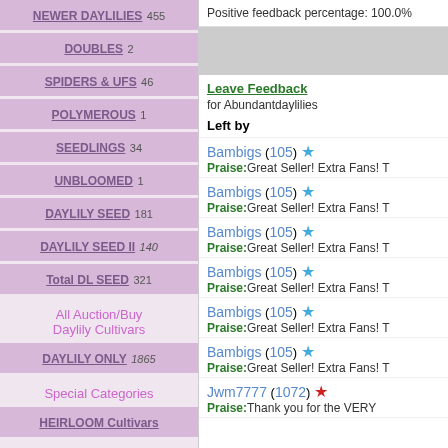NEWER DAYLILIES 455
DOUBLES 2
SPIDERS & UFS 46
POLYMEROUS 1
SEEDLINGS 34
UNBLOOMED 1
DAYLILY SEED 181
DAYLILY SEED II 140
Total DL SEED 321
All Auction/Buy Daylily Cultivars
DAYLILY ONLY 1865
Special Categories
HEIRLOOM Cultivars
Daylily Store
Positive feedback percentage: 100.0%
Leave Feedback for Abundantdaylilies
Left by
Bambigs (105) Praise:Great Seller! Extra Fans! T
Bambigs (105) Praise:Great Seller! Extra Fans! T
Bambigs (105) Praise:Great Seller! Extra Fans! T
Bambigs (105) Praise:Great Seller! Extra Fans! T
Bambigs (105) Praise:Great Seller! Extra Fans! T
Bambigs (105) Praise:Great Seller! Extra Fans! T
Jwm7777 (1072) Praise:Thank you for the VERY